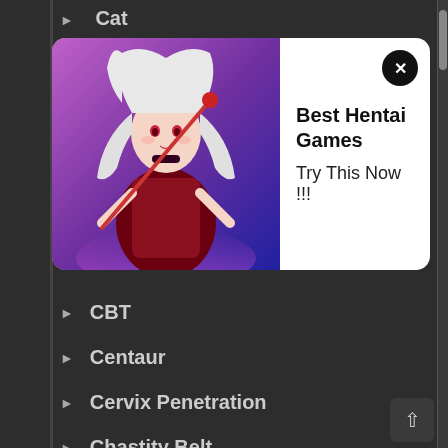Cat
[Figure (illustration): Advertisement banner with anime girl character on left side, white background on right showing 'Best Hentai Games - Try This Now !!!' with close button]
CBT
Centaur
Cervix Penetration
Chastity Belt
Cheating
Cheerleader
Chikan / Molestation
Chinese Dress
Chloroform